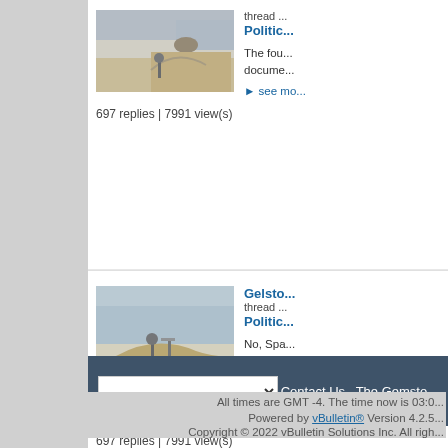[Figure (photo): Desert landscape with figure on rocky hill, first thread]
thread ... Politic...
The fou... docume...
▶ see mo...
697 replies | 7991 view(s)
[Figure (photo): Desert landscape with figure and structures on hill, second thread]
Gelsto... thread... Politic...
No, Spa... anything...
▶ see mo...
697 replies | 7991 view(s)
More Activity
Contact Us  The Gemsto...
All times are GMT -4. The time now is 03:0...
Powered by vBulletin® Version 4.2.5. Copyright © 2022 vBulletin Solutions Inc. All righ...